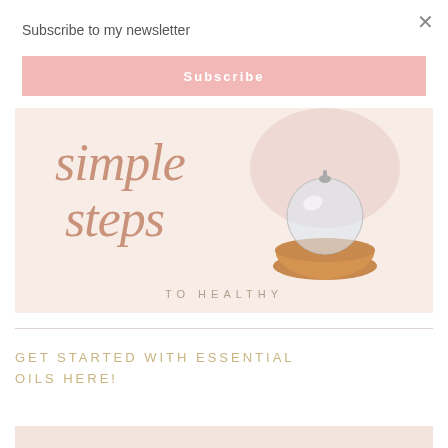×
Subscribe to my newsletter
Subscribe
[Figure (illustration): Promotional image with cursive script text reading 'simple steps' and 'TO HEALTHY' below, featuring a glass globe essential oil diffuser on a wooden base, with a pink watercolor blob in the background on a cream/beige background.]
GET STARTED WITH ESSENTIAL OILS HERE!
[Figure (illustration): Bottom strip / partial image at very bottom of page, pink/beige background]